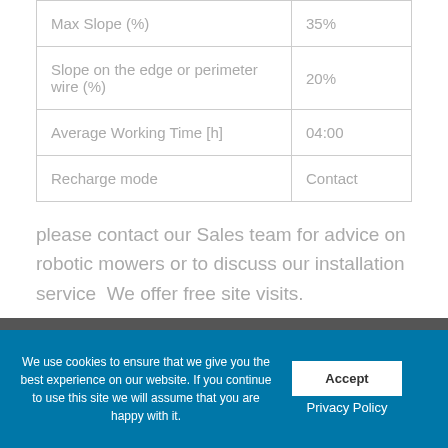| Max Slope (%) | 35% |
| Slope on the edge or perimeter wire (%) | 20% |
| Average Working Time [h] | 04:00 |
| Recharge mode | Contact |
please contact our Sales team for advice on robotic mowers or to discuss our installation service  We offer free site visits.
We use cookies to ensure that we give you the best experience on our website. If you continue to use this site we will assume that you are happy with it.